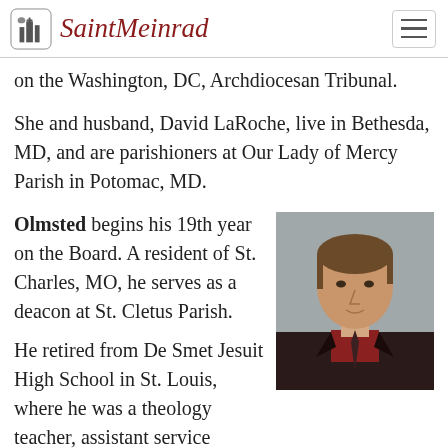Saint Meinrad
on the Washington, DC, Archdiocesan Tribunal.
She and husband, David LaRoche, live in Bethesda, MD, and are parishioners at Our Lady of Mercy Parish in Potomac, MD.
[Figure (photo): Headshot of a middle-aged man with brown hair wearing a dark jacket and red shirt with tie, against a gray background]
Olmsted begins his 19th year on the Board. A resident of St. Charles, MO, he serves as a deacon at St. Cletus Parish.
He retired from De Smet Jesuit High School in St. Louis, where he was a theology teacher, assistant service project director and pastoral